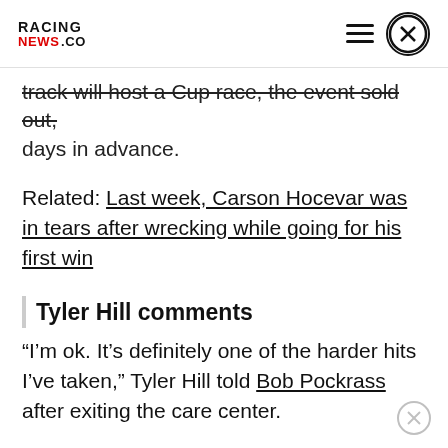RACING NEWS.CO
track will host a Cup race, the event sold out, days in advance.
Related: Last week, Carson Hocevar was in tears after wrecking while going for his first win
Tyler Hill comments
“I’m ok. It’s definitely one of the harder hits I’ve taken,” Tyler Hill told Bob Pockrass after exiting the care center.
“I saw Carson in there. It looks like he’s doing well.”